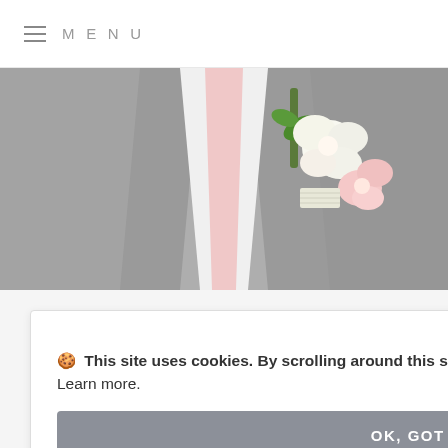MENU
[Figure (photo): Close-up of a man in a grey suit with a pink tie and a white floral boutonniere with pink roses and green leaves.]
This site uses cookies. By scrolling around this site you agree to our Privacy Policy. Learn more.
OK, GOT IT!
h
d
ent
e world
sight